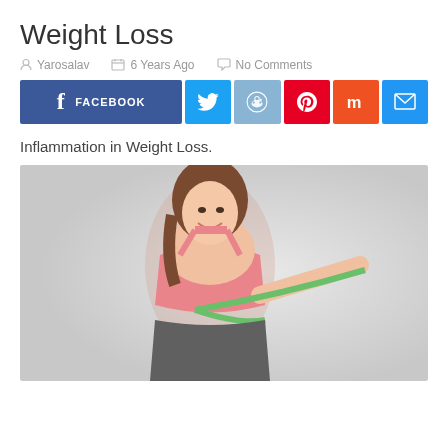Weight Loss
Yarosalav   6 Years Ago   No Comments
[Figure (infographic): Social share buttons: Facebook, Twitter, Reddit, Pinterest, Mix, Email]
Inflammation in Weight Loss.
[Figure (photo): A smiling young woman in a pink sports bra measuring her waist with a green tape measure against a light grey background.]